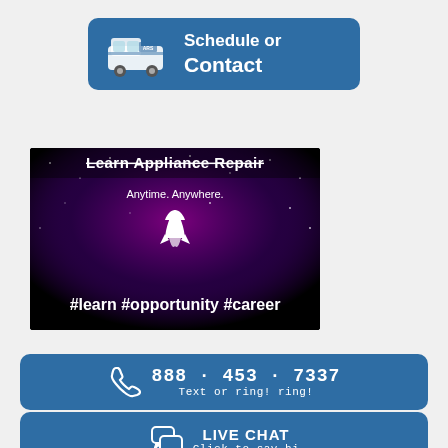[Figure (illustration): Blue rounded rectangle button with a delivery van icon on the left and text 'Schedule or Contact' in white on the right]
[Figure (illustration): Dark space-themed banner image with text 'Learn Appliance Repair', 'Anytime. Anywhere.', a white rocket icon, and hashtags '#learn #opportunity #career']
[Figure (infographic): Blue rounded rectangle button with phone icon and text '888 · 453 · 7337' and 'Text or ring! ring!']
[Figure (infographic): Blue rounded rectangle button with chat bubble icon and text 'LIVE CHAT' and 'Click to say hi']